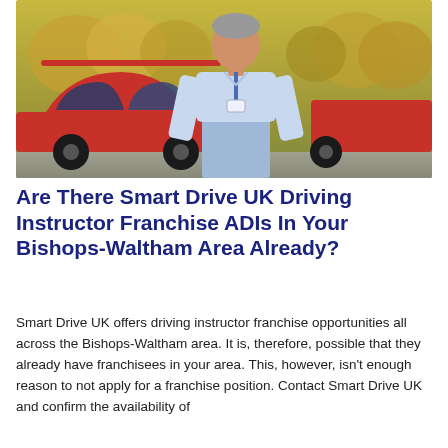[Figure (photo): A man in a light blue shirt with a lanyard and badge standing in front of a red car, with autumn trees in the background.]
Are There Smart Drive UK Driving Instructor Franchise ADIs In Your Bishops-Waltham Area Already?
Smart Drive UK offers driving instructor franchise opportunities all across the Bishops-Waltham area. It is, therefore, possible that they already have franchisees in your area. This, however, isn't enough reason to not apply for a franchise position. Contact Smart Drive UK and confirm the availability of